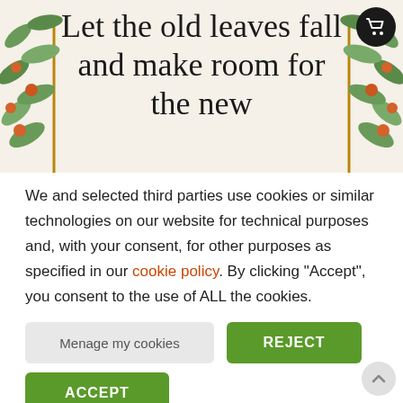[Figure (illustration): Decorative banner with botanical illustration showing green leaves and orange berries on both sides, with handwritten-style text reading 'Let the old leaves fall and make room for the new'. A shopping cart icon appears in the top right corner.]
We and selected third parties use cookies or similar technologies on our website for technical purposes and, with your consent, for other purposes as specified in our cookie policy. By clicking "Accept", you consent to the use of ALL the cookies.